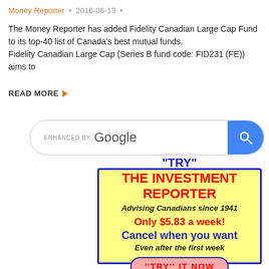Money Reporter · 2016-06-13 ·
The Money Reporter has added Fidelity Canadian Large Cap Fund to its top-40 list of Canada's best mutual funds.
Fidelity Canadian Large Cap (Series B fund code: FID231 (FE)) aims to
READ MORE ▶
[Figure (screenshot): Google search box with ENHANCED BY Google label and blue search button]
[Figure (infographic): Advertisement for The Investment Reporter: 'TRY' THE INVESTMENT REPORTER. Advising Canadians since 1941. Only $5.83 a week! Cancel when you want. Even after the first week. ''TRY'' IT NOW button.]